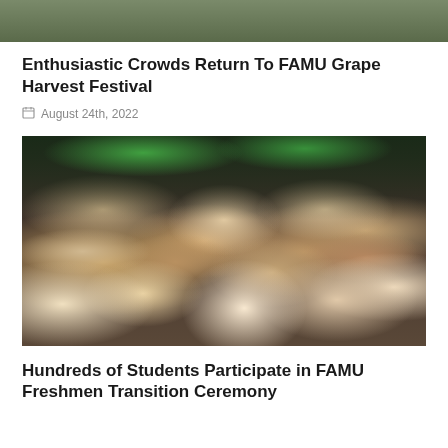[Figure (photo): Partial top image showing green grass/field scene, cropped at top of page]
Enthusiastic Crowds Return To FAMU Grape Harvest Festival
August 24th, 2022
[Figure (photo): Crowd of students in white clothing sitting in bleachers, smiling and clapping at a FAMU ceremony/event]
Hundreds of Students Participate in FAMU Freshmen Transition Ceremony